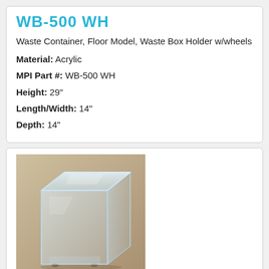WB-500 WH
Waste Container, Floor Model, Waste Box Holder w/wheels
Material: Acrylic
MPI Part #: WB-500 WH
Height: 29"
Length/Width: 14"
Depth: 14"
[Figure (photo): Photo of an acrylic clear waste box holder with wheels, transparent box on a tan/beige background]